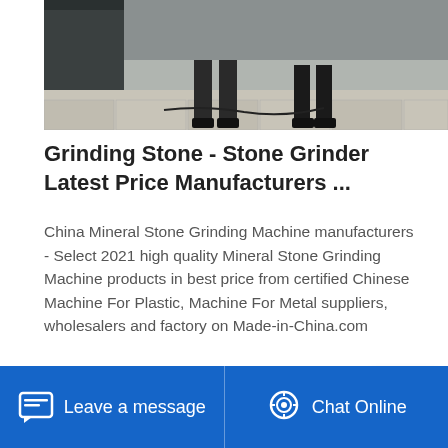[Figure (photo): Photo of workers using a stone grinding machine outdoors on a paved surface with cables visible]
Grinding Stone - Stone Grinder Latest Price Manufacturers ...
China Mineral Stone Grinding Machine manufacturers - Select 2021 high quality Mineral Stone Grinding Machine products in best price from certified Chinese Machine For Plastic, Machine For Metal suppliers, wholesalers and factory on Made-in-China.com
[Figure (photo): Partial photo of stone/concrete surface visible at bottom of page]
Leave a message   Chat Online